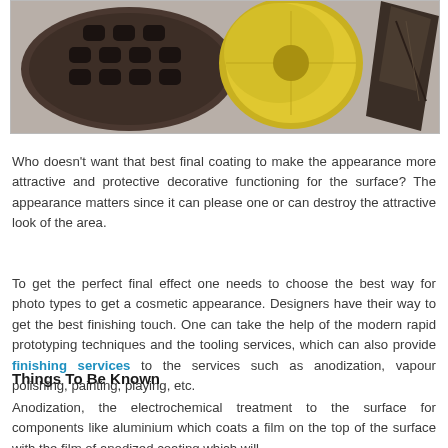[Figure (photo): Photo showing industrial/engineering components: a dark textured oval pad with grid holes, a yellow disk/reel, and dark metal tool components against a grey background.]
Who doesn't want that best final coating to make the appearance more attractive and protective decorative functioning for the surface? The appearance matters since it can please one or can destroy the attractive look of the area.
To get the perfect final effect one needs to choose the best way for photo types to get a cosmetic appearance. Designers have their way to get the best finishing touch. One can take the help of the modern rapid prototyping techniques and the tooling services, which can also provide finishing services to the services such as anodization, vapour polishing, painting, playing, etc.
Things To Be Known
Anodization, the electrochemical treatment to the surface for components like aluminium which coats a film on the top of the surface with the film of anodized coating which will